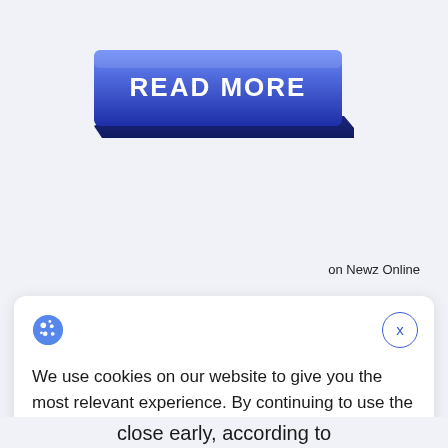[Figure (other): A large blue 3D-style button labeled READ MORE with a gradient from blue-purple to dark navy, with a drop shadow giving a 3D raised effect.]
on Newz Online
[Figure (other): Cookie consent banner with a cookie icon, a close X button, cookie consent text, and two buttons: Decline and Accept.]
We use cookies on our website to give you the most relevant experience. By continuing to use the site, you agree to the use of cookies.
close early, according to